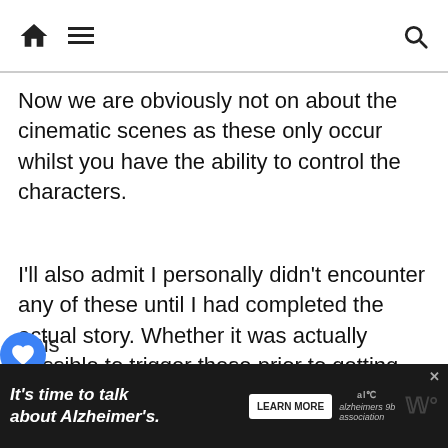Navigation bar with home, menu, and search icons
Now we are obviously not on about the cinematic scenes as these only occur whilst you have the ability to control the characters.
I'll also admit I personally didn't encounter any of these until I had completed the actual story. Whether it was actually possible to trigger these prior to getting the games ending or not I'm unsure, so expect a few possible spoilers mixed in with these due to this and collected these after completing the game. You have been warned!
This arious
[Figure (screenshot): Ad banner: It's time to talk about Alzheimer's. with LEARN MORE button and Alzheimer's Association logo]